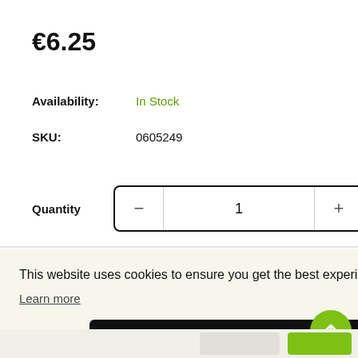€6.25
Availability:  In Stock
SKU:  0605249
Quantity  −  1  +
This website uses cookies to ensure you get the best experience on our website.
Learn more
Dismiss   Allow Cookies